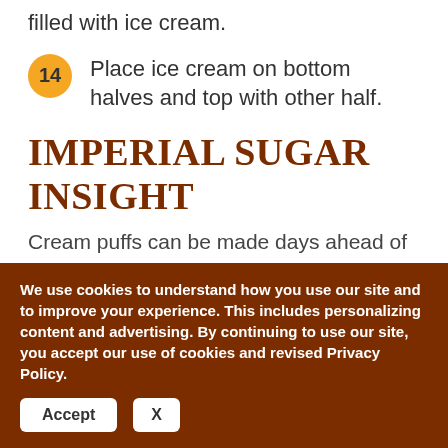filled with ice cream.
14  Place ice cream on bottom halves and top with other half.
IMPERIAL SUGAR INSIGHT
Cream puffs can be made days ahead of your special occasion. Once baked place in freezer bags and defrost at room temperature when
We use cookies to understand how you use our site and to improve your experience. This includes personalizing content and advertising. By continuing to use our site, you accept our use of cookies and revised Privacy Policy.